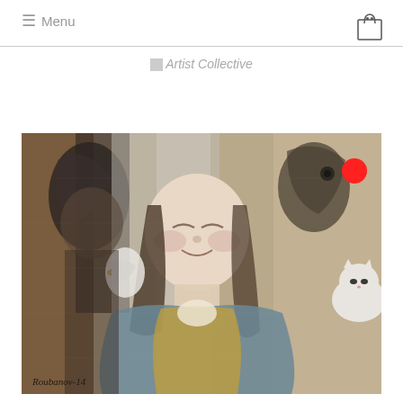≡ Menu
[Figure (logo): Artist Collective logo placeholder image]
[Figure (photo): Oil painting by Roubanov-14 depicting a smiling woman with braids surrounded by birds and a white cat, painted in muted tones of grey, blue, and ochre. Artist signature 'Roubanov-14' visible in bottom left. A red dot visible in upper right area of painting.]